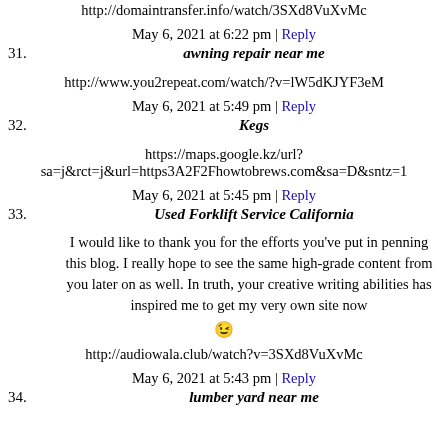http://domaintransfer.info/watch/3SXd8VuXvMc
May 6, 2021 at 6:22 pm | Reply
31. awning repair near me
http://www.you2repeat.com/watch/?v=lW5dKJYF3eM
May 6, 2021 at 5:49 pm | Reply
32. Kegs
https://maps.google.kz/url?sa=j&rct=j&url=https3A2F2Fhowtobrews.com&sa=D&sntz=1
May 6, 2021 at 5:45 pm | Reply
33. Used Forklift Service California
I would like to thank you for the efforts you've put in penning this blog. I really hope to see the same high-grade content from you later on as well. In truth, your creative writing abilities has inspired me to get my very own site now
http://audiowala.club/watch?v=3SXd8VuXvMc
May 6, 2021 at 5:43 pm | Reply
34. lumber yard near me